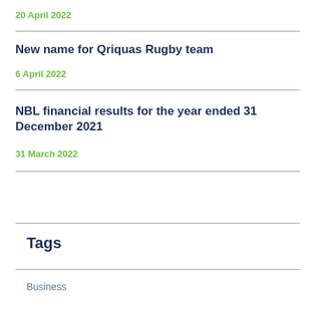20 April 2022
New name for Qriquas Rugby team
6 April 2022
NBL financial results for the year ended 31 December 2021
31 March 2022
Tags
Business